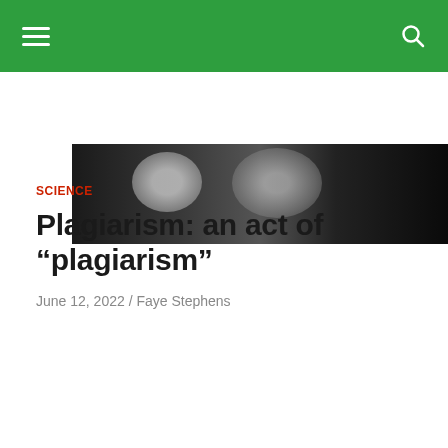Navigation bar with hamburger menu and search icon
[Figure (photo): Black and white photo of people in graduation caps, dark toned image]
SCIENCE
Plagiarism: an act of “plagiarism”
June 12, 2022 / Faye Stephens